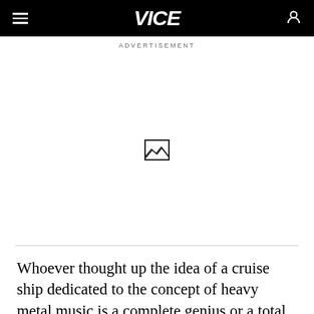VICE
ADVERTISEMENT
[Figure (other): Advertisement placeholder with broken image icon]
Whoever thought up the idea of a cruise ship dedicated to the concept of heavy metal music is a complete genius or a total bastard—I'm not